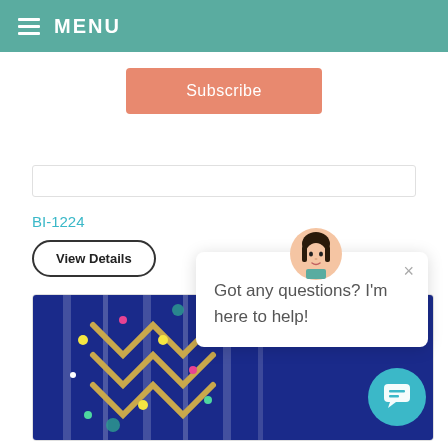MENU
Subscribe
BI-1224
View Details
[Figure (photo): Blue and white embroidered/beaded decorative bag with geometric pattern and gold chain detail]
Got any questions? I'm here to help!